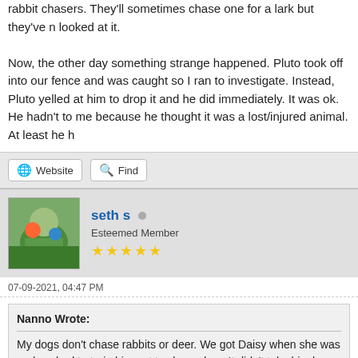rabbit chasers. They'll sometimes chase one for a lark but they've never looked at it.

Now, the other day something strange happened. Pluto took off into our fence and was caught so I ran to investigate. Instead, Pluto yelled at him to drop it and he did immediately. It was ok. He hadn't to me because he thought it was a lost/injured animal. At least he h
Website | Find (buttons)
seth s • Esteemed Member ★★★★★
07-09-2021, 04:47 PM
Nanno Wrote:
My dogs don't chase rabbits or deer. We got Daisy when she was and we had to train him not to chase deer. It didn't take him long. begin with so it's easy to train them not to chase non-predator spe between the predator and the goats and bark their heads off. The